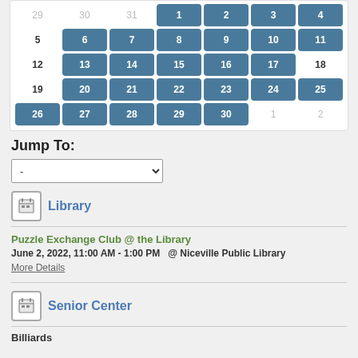[Figure (other): Calendar grid showing days of the month. Inactive days (29, 30, 31 at start; 1, 2 at end) in gray. Active days 1-30 shown as teal/blue rounded button cells. Days 5, 12, 18, 19 shown as plain numbers without button style.]
Jump To:
-
[Figure (other): Calendar/notepad icon for Library category]
Library
Puzzle Exchange Club @ the Library
June 2, 2022, 11:00 AM - 1:00 PM    @ Niceville Public Library
More Details
[Figure (other): Calendar/notepad icon for Senior Center category]
Senior Center
Billiards